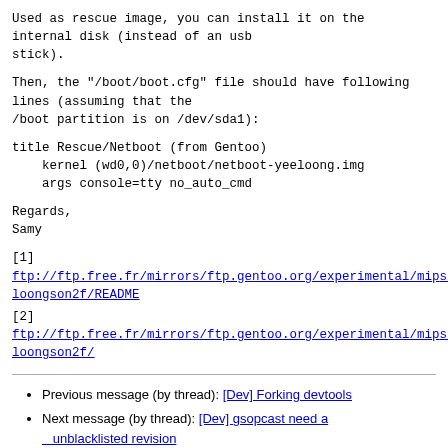Used as rescue image, you can install it on the
internal disk (instead of an usb
stick).
Then, the "/boot/boot.cfg" file should have following
lines (assuming that the
/boot partition is on /dev/sda1):
title Rescue/Netboot (from Gentoo)
    kernel (wd0,0)/netboot/netboot-yeeloong.img
    args console=tty no_auto_cmd
Regards,
Samy
[1]
ftp://ftp.free.fr/mirrors/ftp.gentoo.org/experimental/mips/loongson2f/README
[2]
ftp://ftp.free.fr/mirrors/ftp.gentoo.org/experimental/mips/loongson2f/
Previous message (by thread): [Dev] Forking devtools
Next message (by thread): [Dev] gsopcast need a unblacklisted revision
Messages sorted by: [ date ] [ thread ] [ subject ] [ author ]